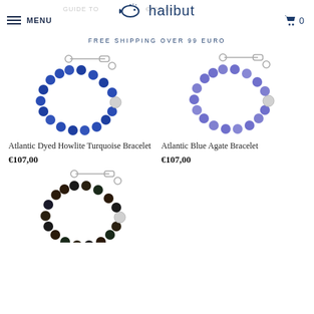MENU | halibut | FREE SHIPPING OVER 99 EURO | Cart: 0
[Figure (photo): Atlantic Dyed Howlite Turquoise Bracelet - blue beaded bracelet with silver chain toggle clasp]
Atlantic Dyed Howlite Turquoise Bracelet
€107,00
[Figure (photo): Atlantic Blue Agate Bracelet - light blue/purple beaded bracelet with silver chain toggle clasp]
Atlantic Blue Agate Bracelet
€107,00
[Figure (photo): Dark beaded bracelet (Tiger Eye or similar) with silver chain toggle clasp - partially visible at bottom]